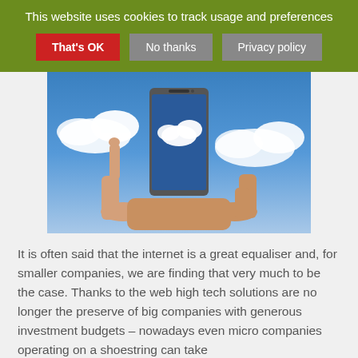This website uses cookies to track usage and preferences
That's OK | No thanks | Privacy policy
[Figure (photo): Hands holding a smartphone up against a blue sky with clouds, finger touching the screen which displays a cloud image]
It is often said that the internet is a great equaliser and, for smaller companies, we are finding that very much to be the case. Thanks to the web high tech solutions are no longer the preserve of big companies with generous investment budgets – nowadays even micro companies operating on a shoestring can take